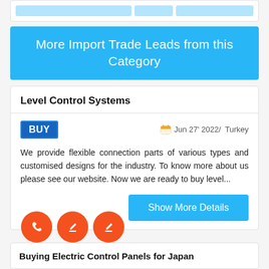[Figure (screenshot): Top bar with light blue button elements]
More Import Trade Leads from this Category
Level Control Systems
BUY   Jun 27' 2022/ Turkey
We provide flexible connection parts of various types and customised designs for the industry. To know more about us please see our website. Now we are ready to buy level...
Show More Details
[Figure (illustration): Three orange circles with icons: phone, edit, edit]
Buying Electric Control Panels for Japan